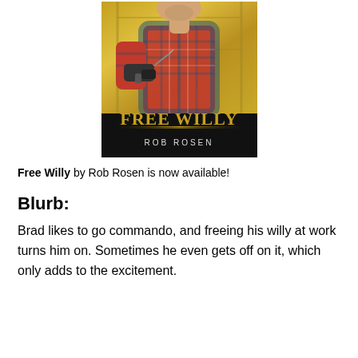[Figure (illustration): Book cover for 'Free Willy' by Rob Rosen. A man in a red and blue plaid flannel shirt holds a power drill. The background is a golden/yellow construction-themed setting. The title 'FREE WILLY' is displayed in large gold letters on a black bar at the bottom, with 'ROB ROSEN' in white letters below a gold dividing line.]
Free Willy by Rob Rosen is now available!
Blurb:
Brad likes to go commando, and freeing his willy at work turns him on. Sometimes he even gets off on it, which only adds to the excitement.